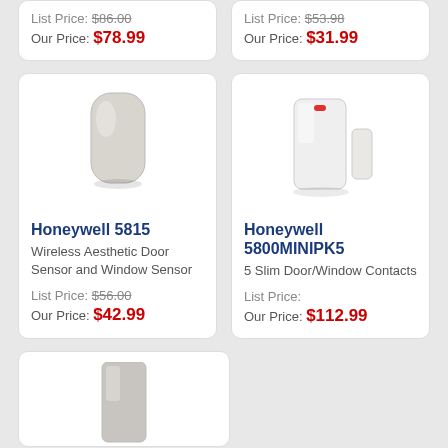List Price: $86.00
Our Price: $78.99
List Price: $53.98
Our Price: $31.99
[Figure (photo): Honeywell 5815 wireless aesthetic door and window sensor - white rounded rectangular device]
Honeywell 5815
Wireless Aesthetic Door Sensor and Window Sensor
List Price: $56.00
Our Price: $42.99
[Figure (photo): Honeywell 5800MINIPK5 - two white slim door/window contact sensors, one taller with red LED indicator]
Honeywell 5800MINIPK5
5 Slim Door/Window Contacts
List Price:
Our Price: $112.99
[Figure (photo): Partial view of a white rectangular security sensor device at bottom of page]